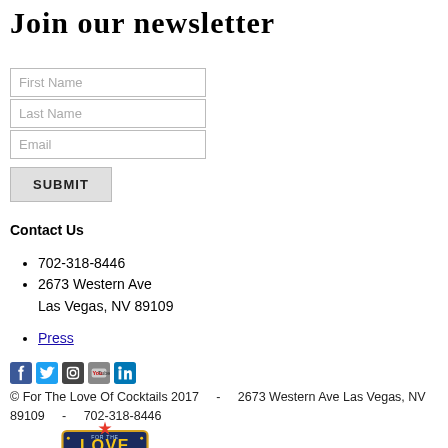Join our newsletter
First Name | Last Name | Email | SUBMIT (form fields)
Contact Us
702-318-8446
2673 Western Ave
Las Vegas, NV 89109
Press
[Figure (infographic): Social media icons: Facebook (blue), Twitter (blue), Instagram (dark), YouTube (red/gray), LinkedIn (blue)]
© For The Love Of Cocktails 2017     -     2673 Western Ave Las Vegas, NV 89109     -     702-318-8446
[Figure (logo): For The Love Of Cocktails logo — retro marquee style sign with 'LOVE' text and stars]